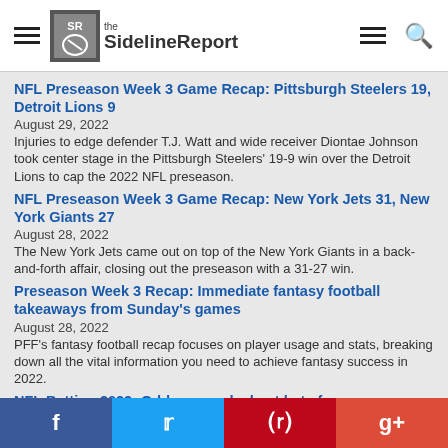the SidelineReport
NFL Preseason Week 3 Game Recap: Pittsburgh Steelers 19, Detroit Lions 9
August 29, 2022
Injuries to edge defender T.J. Watt and wide receiver Diontae Johnson took center stage in the Pittsburgh Steelers' 19-9 win over the Detroit Lions to cap the 2022 NFL preseason.
NFL Preseason Week 3 Game Recap: New York Jets 31, New York Giants 27
August 28, 2022
The New York Jets came out on top of the New York Giants in a back-and-forth affair, closing out the preseason with a 31-27 win.
Preseason Week 3 Recap: Immediate fantasy football takeaways from Sunday's games
August 28, 2022
PFF's fantasy football recap focuses on player usage and stats, breaking down all the vital information you need to achieve fantasy success in 2022.
NFL Betting 2022: Odds, spreads, best bets for preseason Week 3 Sunday slate